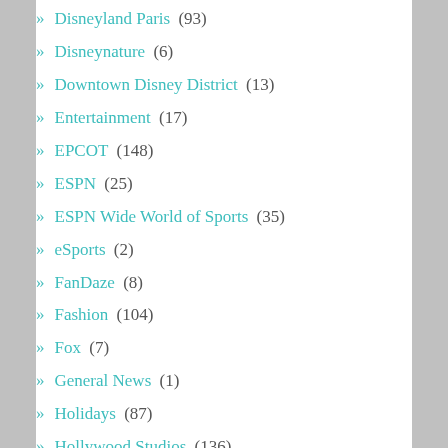Disneyland Paris (93)
Disneynature (6)
Downtown Disney District (13)
Entertainment (17)
EPCOT (148)
ESPN (25)
ESPN Wide World of Sports (35)
eSports (2)
FanDaze (8)
Fashion (104)
Fox (7)
General News (1)
Holidays (87)
Hollywood Studios (136)
Hong Kong Disneyland (59)